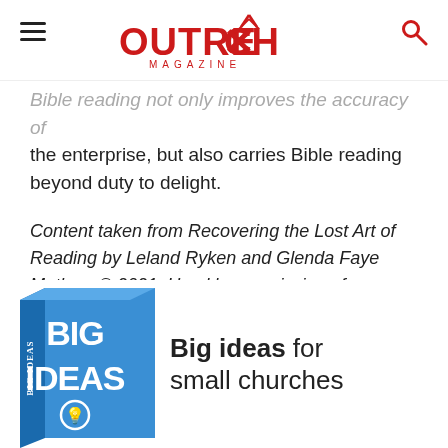Outreach Magazine
Bible reading not only improves the accuracy of the enterprise, but also carries Bible reading beyond duty to delight.
Content taken from Recovering the Lost Art of Reading by Leland Ryken and Glenda Faye Mathes, © 2021. Used by permission of Crossway, a publishing ministry of Good News Publishers. Crossway.org.
[Figure (photo): Book cover of 'Big Ideas for small churches' shown as a 3D blue book with white hand-drawn lettering]
Big ideas for small churches